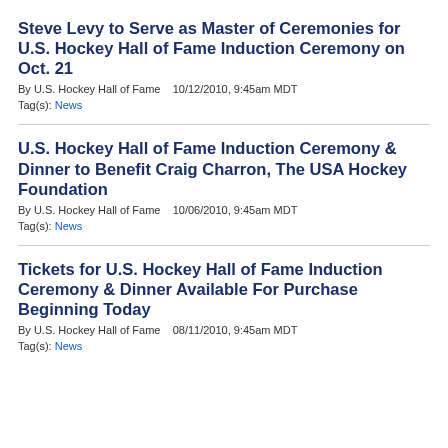Steve Levy to Serve as Master of Ceremonies for U.S. Hockey Hall of Fame Induction Ceremony on Oct. 21
By U.S. Hockey Hall of Fame   10/12/2010, 9:45am MDT
Tag(s): News
U.S. Hockey Hall of Fame Induction Ceremony & Dinner to Benefit Craig Charron, The USA Hockey Foundation
By U.S. Hockey Hall of Fame   10/06/2010, 9:45am MDT
Tag(s): News
Tickets for U.S. Hockey Hall of Fame Induction Ceremony & Dinner Available For Purchase Beginning Today
By U.S. Hockey Hall of Fame   08/11/2010, 9:45am MDT
Tag(s): News